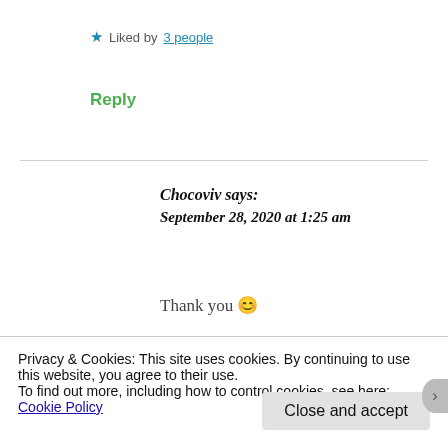★ Liked by 3 people
Reply
Chocoviv says: September 28, 2020 at 1:25 am
Thank you 😊
★ Liked by 1 person
Privacy & Cookies: This site uses cookies. By continuing to use this website, you agree to their use.
To find out more, including how to control cookies, see here: Cookie Policy
Close and accept